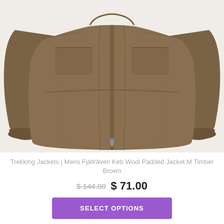[Figure (photo): A brown/tan Fjällräven Keb Wool Padded Jacket M Timber Brown displayed front-facing on a white background. The jacket shows a full zip front, chest pockets, and ribbed cuffs.]
Trekking Jackets | Mens Fjällräven Keb Wool Padded Jacket M Timber Brown
$144.00  $ 71.00
SELECT OPTIONS